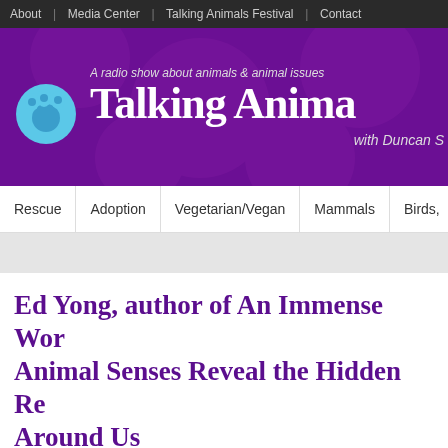About | Media Center | Talking Animals Festival | Contact
[Figure (logo): Talking Animals radio show banner with paw print logo, tagline 'A radio show about animals & animal issues', title 'Talking Anima...' with 'with Duncan S...']
Rescue | Adoption | Vegetarian/Vegan | Mammals | Birds,
Ed Yong, author of An Immense Wor... Animal Senses Reveal the Hidden Re... Around Us
By Duncan | August 24, 2022 | Authors, Birds, Fish & Reptiles, Cats, Cetaceans, Dog... Horses, Mammals | No comments